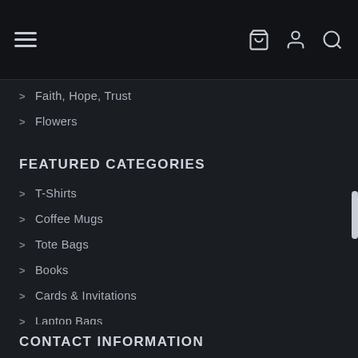Navigation header with hamburger menu, cart icon, user icon, search icon
> Faith, Hope, Trust
> Flowers
FEATURED CATEGORIES
> T-Shirts
> Coffee Mugs
> Tote Bags
> Books
> Cards & Invitations
> Laptop Bags
> Coasters
CONTACT INFORMATION